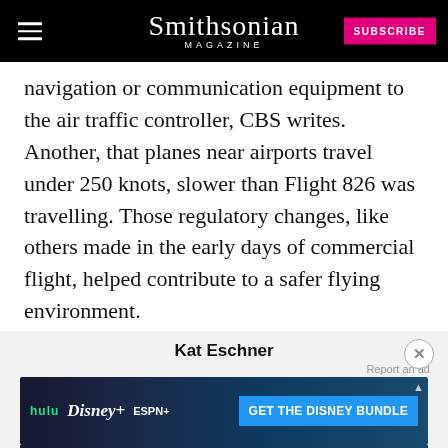Smithsonian MAGAZINE | SUBSCRIBE
navigation or communication equipment to the air traffic controller, CBS writes. Another, that planes near airports travel under 250 knots, slower than Flight 826 was travelling. Those regulatory changes, like others made in the early days of commercial flight, helped contribute to a safer flying environment.
Kat Eschner
[Figure (screenshot): GET THE DISNEY BUNDLE advertisement banner featuring Hulu, Disney+, and ESPN+ logos with blue CTA button]
Kat Eschner is a freelance science and culture journalist